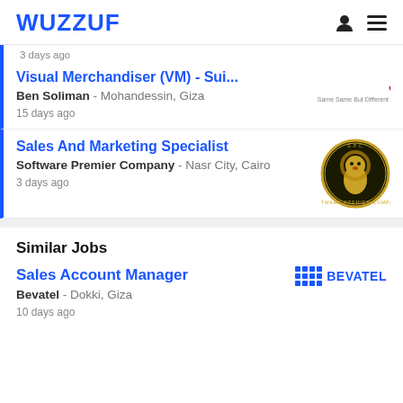WUZZUF
3 days ago
Visual Merchandiser (VM) - Sui...
Ben Soliman - Mohandessin, Giza
15 days ago
Sales And Marketing Specialist
Software Premier Company - Nasr City, Cairo
3 days ago
Similar Jobs
Sales Account Manager
Bevatel - Dokki, Giza
10 days ago